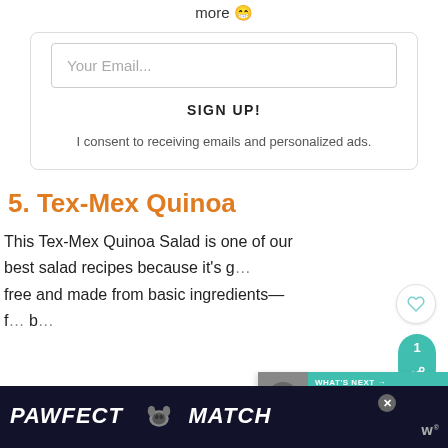more 😁
Your Email...
SIGN UP!
I consent to receiving emails and personalized ads.
5. Tex-Mex Quinoa
This Tex-Mex Quinoa Salad is one of our best salad recipes because it's g[rain] free and made from basic ingredients—f[ull of...] b[lack]
[Figure (screenshot): WHAT'S NEXT banner showing 25 Chicken Cutlet... with teal background]
[Figure (photo): PAWFECT MATCH advertisement banner at bottom with cat face]